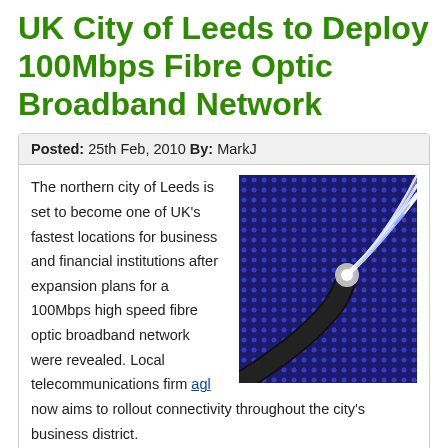UK City of Leeds to Deploy 100Mbps Fibre Optic Broadband Network
Posted: 25th Feb, 2010 By: MarkJ
[Figure (photo): Close-up photograph of fibre optic cable strands glowing blue and white against a dark blue grid background]
The northern city of Leeds is set to become one of UK's fastest locations for business and financial institutions after expansion plans for a 100Mbps high speed fibre optic broadband network were revealed. Local telecommunications firm agl now aims to rollout connectivity throughout the city's business district.